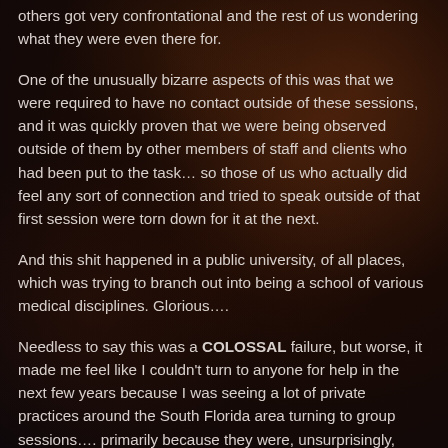others got very confrontational and the rest of us wondering what they were even there for.
One of the unusually bizarre aspects of this was that we were required to have no contact outside of these sessions, and it was quickly proven that we were being observed outside of them by other members of staff and clients who had been put to the task… so those of us who actually did feel any sort of connection and tried to speak outside of that first session were torn down for it at the next.
And this shit happened in a public university, of all places, which was trying to branch out into being a school of various medical disciplines. Glorious….
Needless to say this was a COLOSSAL failure, but worse, it made me feel like I couldn't turn to anyone for help in the next few years because I was seeing a lot of private practices around the South Florida area turning to group sessions…. primarily because they were, unsurprisingly, more profitable to run. I couldn't really imagine this going much better.
I've had pretty much zero luck with trying to seek any